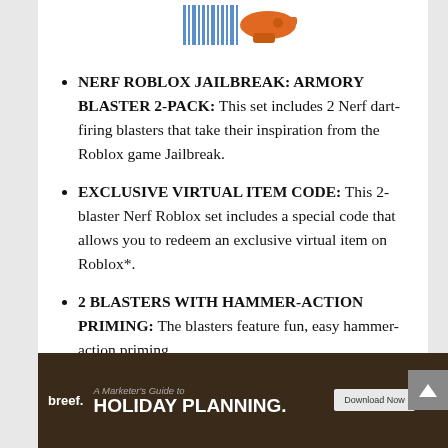[Figure (photo): Partial product image of Nerf Roblox Jailbreak blaster with barcode at top of page]
NERF ROBLOX JAILBREAK: ARMORY BLASTER 2-PACK: This set includes 2 Nerf dart-firing blasters that take their inspiration from the Roblox game Jailbreak.
EXCLUSIVE VIRTUAL ITEM CODE: This 2-blaster Nerf Roblox set includes a special code that allows you to redeem an exclusive virtual item on Roblox*.
2 BLASTERS WITH HAMMER-ACTION PRIMING: The blasters feature fun, easy hammer-action priming.
INCLUDES 10 NERF DARTS: Comes with 10
[Figure (illustration): Advertisement banner for breef: A Marketer's Guide to Holiday Planning with a Download Now button]